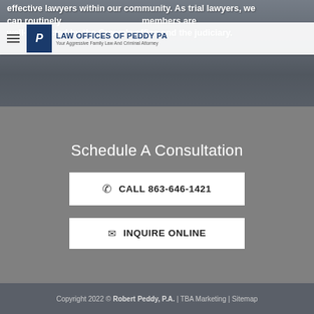effective lawyers within our community. As trial lawyers, we can routinely members are well-respected by the Crown's office and the judiciary.
[Figure (logo): Law Offices of Peddy PA logo with blue P icon and text 'Your Aggressive Family Law And Criminal Attorney']
Schedule A Consultation
CALL 863-646-1421
INQUIRE ONLINE
Copyright 2022 © Robert Peddy, P.A. | TBA Marketing | Sitemap